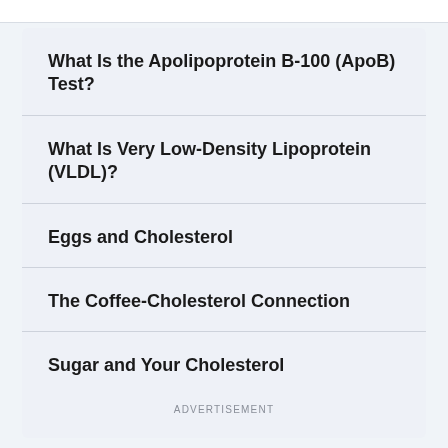What Is the Apolipoprotein B-100 (ApoB) Test?
What Is Very Low-Density Lipoprotein (VLDL)?
Eggs and Cholesterol
The Coffee-Cholesterol Connection
Sugar and Your Cholesterol
ADVERTISEMENT